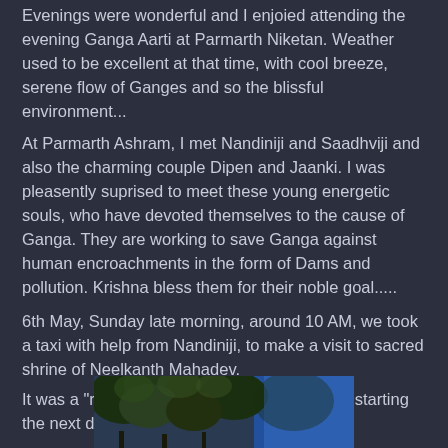Evenings were wonderful and I enjoied attending the evening Ganga Aarti at Parmarth Niketan. Weather used to be excellent at that time, with cool breeze, serene flow of Ganges and so the blissful environment...
At Parmarth Ashram, I met Nandiniji and Saadhviji and also the charming couple Dipen and Jaanki. I was pleasently suprised to meet these young energetic souls, who have devoted themselves to the cause of Ganga. They are working to save Ganga against human encroachments in the form of Dams and pollution. Krishna bless them for their noble goal.....
6th May, Sunday late morning, around 10 AM, we took a taxi with help from Nandiniji, to make a visit to sacred shrine of Neelkanth Mahadev.
It was a "rehersal" of our Himalayan Sojourn, starting the next day.
[Figure (photo): Partial view of trees with lush green foliage and a blue element (possibly sky or fabric) visible in the background, bottom of page.]